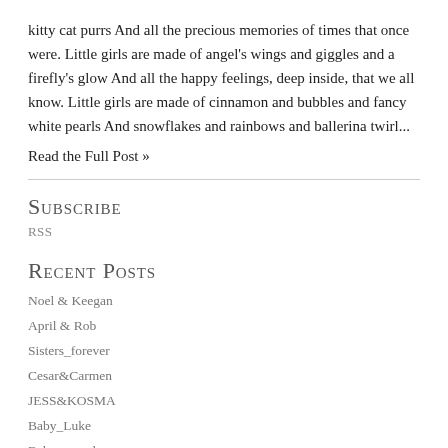kitty cat purrs And all the precious memories of times that once were. Little girls are made of angel's wings and giggles and a firefly's glow And all the happy feelings, deep inside, that we all know. Little girls are made of cinnamon and bubbles and fancy white pearls And snowflakes and rainbows and ballerina twirl...
Read the Full Post »
Subscribe
RSS
Recent Posts
Noel & Keegan
April & Rob
Sisters_forever
Cesar&Carmen
JESS&KOSMA
Baby_Luke
Baby_reveal
Wondering what we are up to?